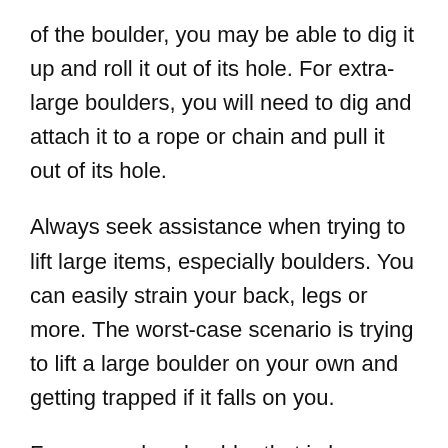of the boulder, you may be able to dig it up and roll it out of its hole. For extra-large boulders, you will need to dig and attach it to a rope or chain and pull it out of its hole.
Always seek assistance when trying to lift large items, especially boulders. You can easily strain your back, legs or more. The worst-case scenario is trying to lift a large boulder on your own and getting trapped if it falls on you.
For any rock or boulder that is larger than a medium-size dog, always get the help of a second person before attempting to remove it.